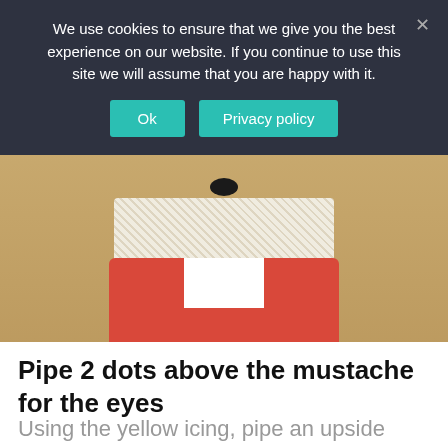We use cookies to ensure that we give you the best experience on our website. If you continue to use this site we will assume that you are happy with it.
[Figure (photo): A Santa Claus themed rice crispy treat decorated with red fondant and white icing on a wooden surface, partially visible behind the cookie consent banner.]
Pipe 2 dots above the mustache for the eyes
Using the yellow icing, pipe an upside down triangle on the hat